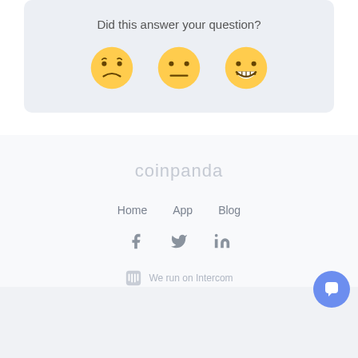Did this answer your question?
[Figure (illustration): Three emoji faces: sad/disappointed, neutral, and happy/grinning]
coinpanda
Home   App   Blog
[Figure (illustration): Social media icons: Facebook, Twitter, LinkedIn]
We run on Intercom
[Figure (illustration): Blue circular chat bubble button (Intercom widget)]